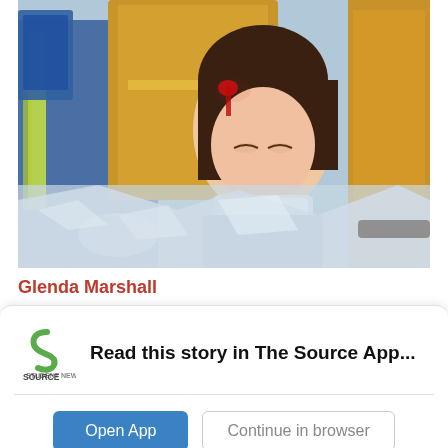[Figure (photo): Emergency responders including a paramedic in blue and firefighters in yellow gear assisting an injured young woman with a head wound and neck brace, possibly at a vehicle accident scene]
Glenda Marshall
Read this story in The Source App...
Open App
Continue in browser